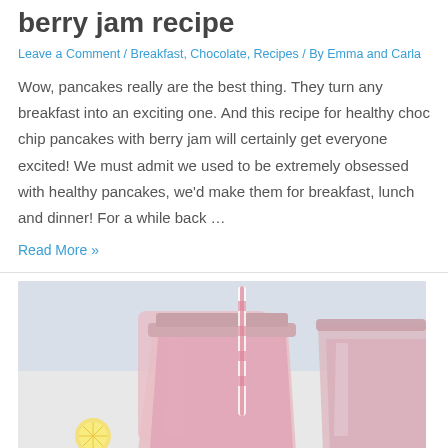berry jam recipe
Leave a Comment / Breakfast, Chocolate, Recipes / By Emma and Carla
Wow, pancakes really are the best thing. They turn any breakfast into an exciting one. And this recipe for healthy choc chip pancakes with berry jam will certainly get everyone excited! We must admit we used to be extremely obsessed with healthy pancakes, we'd make them for breakfast, lunch and dinner! For a while back …
Read More »
[Figure (photo): Two mason jar glasses filled with pink smoothie drinks, one with a pink and white striped straw, photographed on a light background]